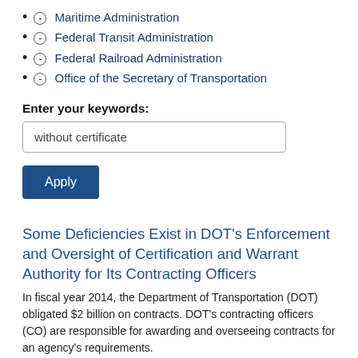(-) Maritime Administration
(-) Federal Transit Administration
(-) Federal Railroad Administration
(-) Office of the Secretary of Transportation
Enter your keywords:
without certificate
Apply
Some Deficiencies Exist in DOT’s Enforcement and Oversight of Certification and Warrant Authority for Its Contracting Officers
In fiscal year 2014, the Department of Transportation (DOT) obligated $2 billion on contracts. DOT’s contracting officers (CO) are responsible for awarding and overseeing contracts for an agency’s requirements.